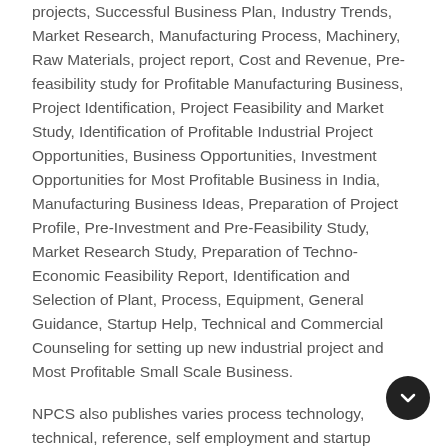projects, Successful Business Plan, Industry Trends, Market Research, Manufacturing Process, Machinery, Raw Materials, project report, Cost and Revenue, Pre-feasibility study for Profitable Manufacturing Business, Project Identification, Project Feasibility and Market Study, Identification of Profitable Industrial Project Opportunities, Business Opportunities, Investment Opportunities for Most Profitable Business in India, Manufacturing Business Ideas, Preparation of Project Profile, Pre-Investment and Pre-Feasibility Study, Market Research Study, Preparation of Techno-Economic Feasibility Report, Identification and Selection of Plant, Process, Equipment, General Guidance, Startup Help, Technical and Commercial Counseling for setting up new industrial project and Most Profitable Small Scale Business.
NPCS also publishes varies process technology, technical, reference, self employment and startup books, directory, business and industry database, bankable detailed project report, market research report on various industries, small scale industry and profit making business. Besides being used by manufacturers, industrialists and entrepreneurs, our publications are also used by professionals